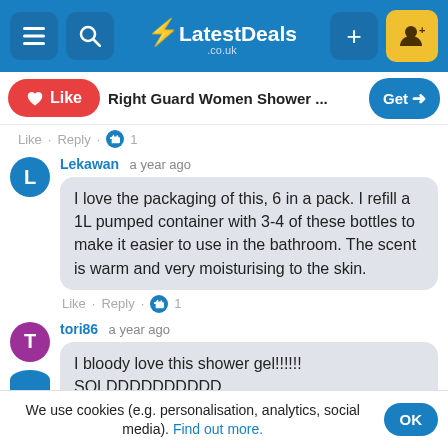LatestDeals .co.uk
Right Guard Women Shower ...
Like · Reply · 1
Lekawan a year ago
I love the packaging of this, 6 in a pack. I refill a 1L pumped container with 3-4 of these bottles to make it easier to use in the bathroom. The scent is warm and very moisturising to the skin.
Like · Reply · 1
tori86 a year ago
I bloody love this shower gel!!!!!! SOLDDDDDDDDDD
We use cookies (e.g. personalisation, analytics, social media). Find out more.